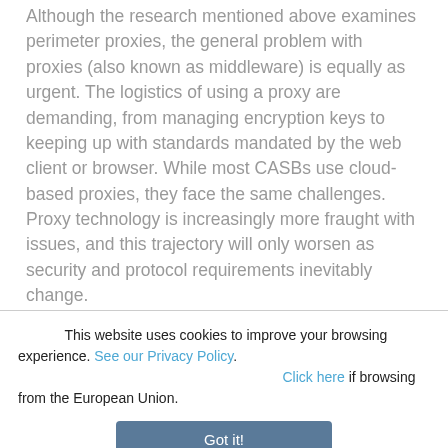Although the research mentioned above examines perimeter proxies, the general problem with proxies (also known as middleware) is equally as urgent. The logistics of using a proxy are demanding, from managing encryption keys to keeping up with standards mandated by the web client or browser. While most CASBs use cloud-based proxies, they face the same challenges. Proxy technology is increasingly more fraught with issues, and this trajectory will only worsen as security and protocol requirements inevitably change.
This website uses cookies to improve your browsing experience. See our Privacy Policy. Click here if browsing from the European Union.